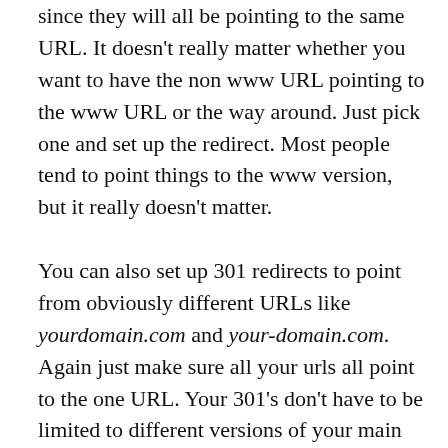different when the will be seen in the dan since they will all be pointing to the same URL. It doesn't really matter whether you want to have the non www URL pointing to the www URL or the way around. Just pick one and set up the redirect. Most people tend to point things to the www version, but it really doesn't matter.
You can also set up 301 redirects to point from obviously different URLs like yourdomain.com and your-domain.com. Again just make sure all your urls all point to the one URL. Your 301's don't have to be limited to different versions of your main URL either. It's quite possible you'll remove a page on your site or rename it to something else. Why give up any link benefit pointing to those pages. Redirect the old page name to the new one on your site or those now